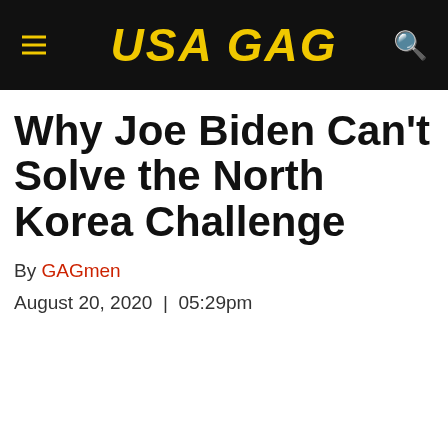USA GAG
Why Joe Biden Can't Solve the North Korea Challenge
By GAGmen
August 20, 2020  |  05:29pm